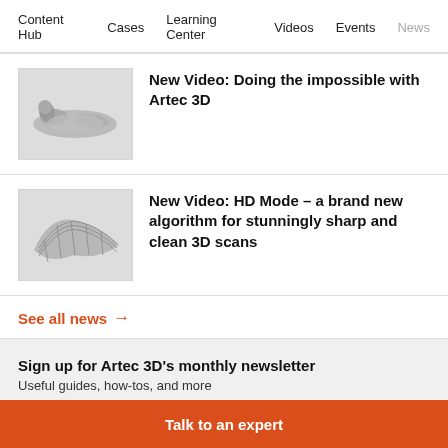Content Hub   Cases   Learning Center   Videos   Events   News
[Figure (photo): Photo of a metallic figurine/statue lying down, silver colored]
New Video: Doing the impossible with Artec 3D
[Figure (photo): Photo of a 3D scanned mesh object, a curved panel with grid texture]
New Video: HD Mode – a brand new algorithm for stunningly sharp and clean 3D scans
See all news →
Sign up for Artec 3D's monthly newsletter
Useful guides, how-tos, and more
Talk to an expert